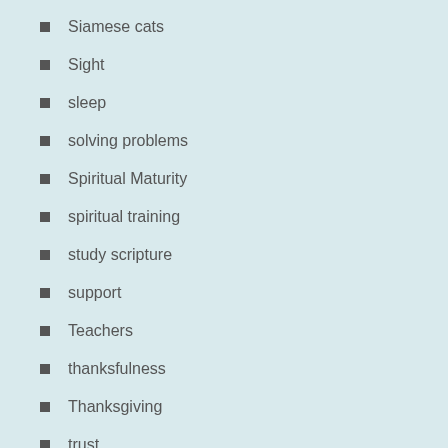Siamese cats
Sight
sleep
solving problems
Spiritual Maturity
spiritual training
study scripture
support
Teachers
thanksfulness
Thanksgiving
trust
understanding
unity
unknown future